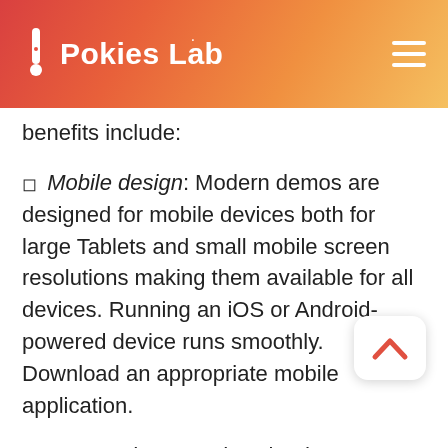Pokies Lab
benefits include:
Mobile design: Modern demos are designed for mobile devices both for large Tablets and small mobile screen resolutions making them available for all devices. Running an iOS or Android-powered device runs smoothly. Download an appropriate mobile application.
Instant play: App downloads are no longer necessary at many online casinos, as the HTML5 technology allows play instantly in Chrome, Safari, and Internet Explorer browsers. Access the site, choose a game and start playing with no download necessary.
Most mobile devices like iPhone, iPad, HTML5...